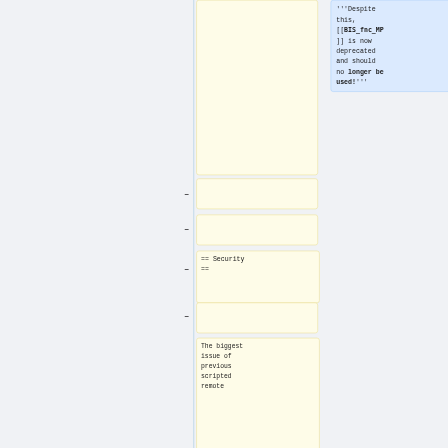'''Despite this, [[BIS_fnc_MP]] is now deprecated and should no longer be used!'''
-
-
== Security ==
-
The biggest issue of previous scripted remote